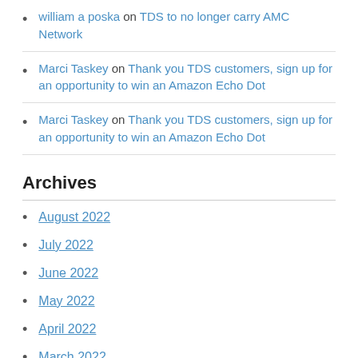william a poska on TDS to no longer carry AMC Network
Marci Taskey on Thank you TDS customers, sign up for an opportunity to win an Amazon Echo Dot
Marci Taskey on Thank you TDS customers, sign up for an opportunity to win an Amazon Echo Dot
Archives
August 2022
July 2022
June 2022
May 2022
April 2022
March 2022
February 2022
January 2022
December 2021
November 2021